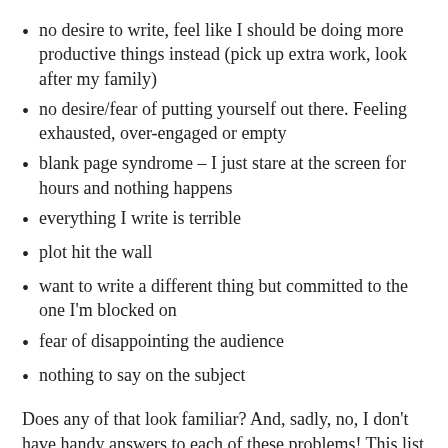no desire to write, feel like I should be doing more productive things instead (pick up extra work, look after my family)
no desire/fear of putting yourself out there. Feeling exhausted, over-engaged or empty
blank page syndrome – I just stare at the screen for hours and nothing happens
everything I write is terrible
plot hit the wall
want to write a different thing but committed to the one I'm blocked on
fear of disappointing the audience
nothing to say on the subject
Does any of that look familiar? And, sadly, no, I don't have handy answers to each of these problems! This list is mostly there to remind us: we're not alone. Writing can be a lonely pursuit sometimes, but whatever our woes, many, many